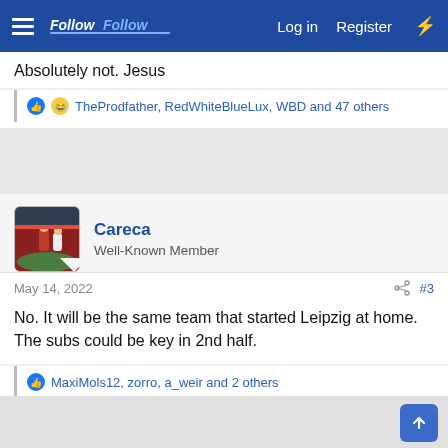FollowFollow — Log in  Register
Absolutely not. Jesus
TheProdfather, RedWhiteBlueLux, WBD and 47 others
Careca
Well-Known Member
May 14, 2022  #3
No. It will be the same team that started Leipzig at home. The subs could be key in 2nd half.
MaxiMols12, zorro, a_weir and 2 others